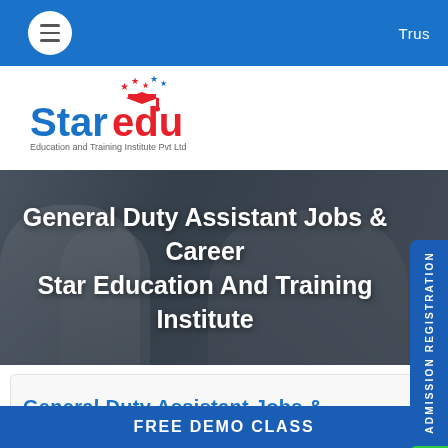Trus
[Figure (logo): Staredu - Education and Training Institute Pvt Ltd logo with mortar board and stars]
[Figure (photo): Banner photo of medical/healthcare professionals in background with text overlay: General Duty Assistant Jobs & Career Star Education And Training Institute]
General Duty Assistant Jobs & Career Star Education And Training Institute
ADMISSION REGISTRATION
General Duty Assistant Jobs &
FREE DEMO CLASS